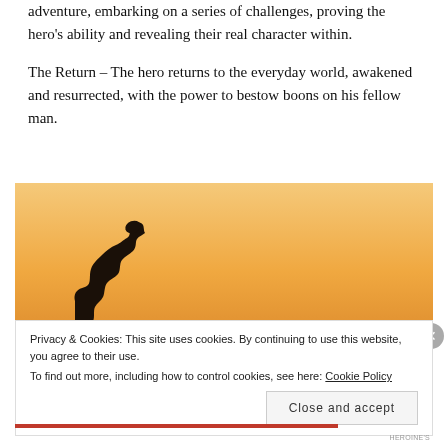adventure, embarking on a series of challenges, proving the hero's ability and revealing their real character within.
The Return – The hero returns to the everyday world, awakened and resurrected, with the power to bestow boons on his fellow man.
[Figure (photo): Silhouette of a woman with hair up, in profile facing right, against a warm orange/yellow sunset sky background]
Privacy & Cookies: This site uses cookies. By continuing to use this website, you agree to their use.
To find out more, including how to control cookies, see here: Cookie Policy
Close and accept